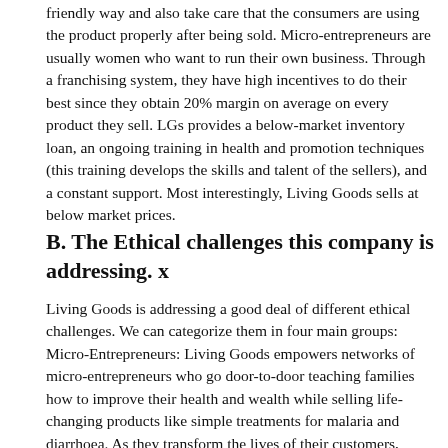friendly way and also take care that the consumers are using the product properly after being sold. Micro-entrepreneurs are usually women who want to run their own business. Through a franchising system, they have high incentives to do their best since they obtain 20% margin on average on every product they sell. LGs provides a below-market inventory loan, an ongoing training in health and promotion techniques (this training develops the skills and talent of the sellers), and a constant support. Most interestingly, Living Goods sells at below market prices.
B. The Ethical challenges this company is addressing.
Living Goods is addressing a good deal of different ethical challenges. We can categorize them in four main groups:
Micro-Entrepreneurs: Living Goods empowers networks of micro-entrepreneurs who go door-to-door teaching families how to improve their health and wealth while selling life-changing products like simple treatments for malaria and diarrhoea. As they transform the lives of their customers, Living Goods agents also significantly improve their own incomes, confidence, and leadership in their communities. They leverage Living Goods' brand, buying power, expert training, and marketing tools to deliver vital products at accessible prices to the people who need them most. They offer low start-up costs supported by single low cost financing. And they now give women and men a